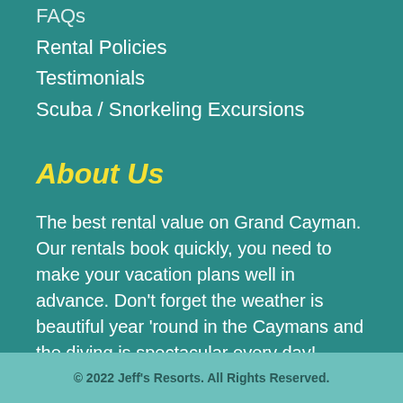FAQs
Rental Policies
Testimonials
Scuba / Snorkeling Excursions
About Us
The best rental value on Grand Cayman. Our rentals book quickly,  you need to make your vacation plans well in advance. Don't forget the weather is beautiful year 'round in the Caymans and the diving is spectacular every day!
© 2022 Jeff's Resorts. All Rights Reserved.